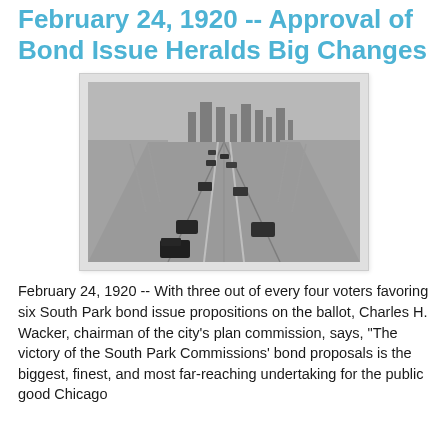February 24, 1920 -- Approval of Bond Issue Heralds Big Changes
[Figure (photo): Black and white aerial/elevated photograph of a wide road or parkway with early 1920s automobiles driving on it. The road extends into the distance with a city skyline visible in the background. Flat, open land flanks both sides of the road.]
February 24, 1920 -- With three out of every four voters favoring six South Park bond issue propositions on the ballot, Charles H. Wacker, chairman of the city's plan commission, says, "The victory of the South Park Commissions' bond proposals is the biggest, finest, and most far-reaching undertaking for the public good Chicago has ever undertaken." The first...